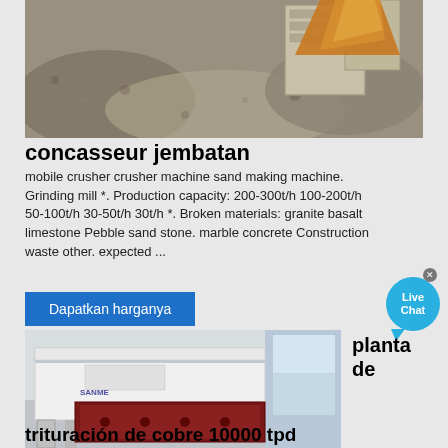[Figure (photo): Aerial view of a mobile crusher/stone crushing machine plant with gravel and machinery visible from above. Orange material pile visible in upper right.]
concasseur jembatan
mobile crusher crusher machine sand making machine. Grinding mill *. Production capacity: 200-300t/h 100-200t/h 50-100t/h 30-50t/h 30t/h *. Broken materials: granite basalt limestone Pebble sand stone. marble concrete Construction waste other. expected ...
Dapatkan harganya
[Figure (photo): Industrial vibrating screen or conveyor machine in white and dark red/brown colors, displayed in a showroom or factory setting with windows visible in background.]
planta de
trituración de cobre 10000 tpd